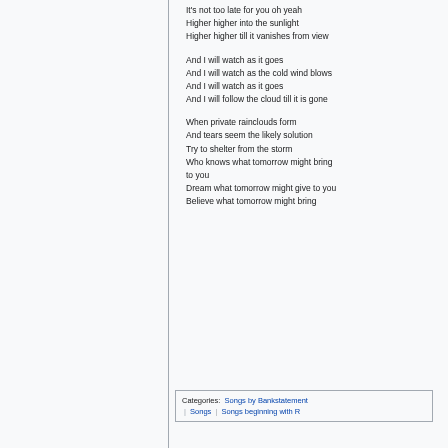It's not too late for you oh yeah
Higher higher into the sunlight
Higher higher till it vanishes from view
And I will watch as it goes
And I will watch as the cold wind blows
And I will watch as it goes
And I will follow the cloud till it is gone
When private rainclouds form
And tears seem the likely solution
Try to shelter from the storm
Who knows what tomorrow might bring to you
Dream what tomorrow might give to you
Believe what tomorrow might bring
Categories:  Songs by Bankstatement | Songs | Songs beginning with R